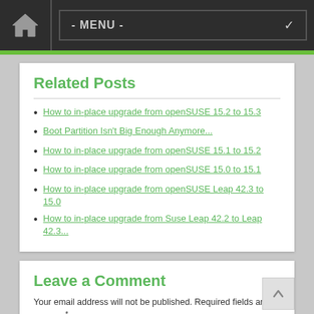- MENU -
Related Posts
How to in-place upgrade from openSUSE 15.2 to 15.3
Boot Partition Isn't Big Enough Anymore...
How to in-place upgrade from openSUSE 15.1 to 15.2
How to in-place upgrade from openSUSE 15.0 to 15.1
How to in-place upgrade from openSUSE Leap 42.3 to 15.0
How to in-place upgrade from Suse Leap 42.2 to Leap 42.3...
Leave a Comment
Your email address will not be published. Required fields are marked *